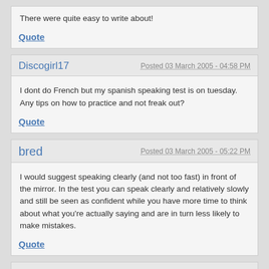There were quite easy to write about!
Quote
Discogirl17
Posted 03 March 2005 - 04:58 PM
I dont do French but my spanish speaking test is on tuesday. Any tips on how to practice and not freak out?
Quote
bred
Posted 03 March 2005 - 05:22 PM
I would suggest speaking clearly (and not too fast) in front of the mirror. In the test you can speak clearly and relatively slowly and still be seen as confident while you have more time to think about what you're actually saying and are in turn less likely to make mistakes.
Quote
Discogirl17
Posted 03 March 2005 - 06:06 PM